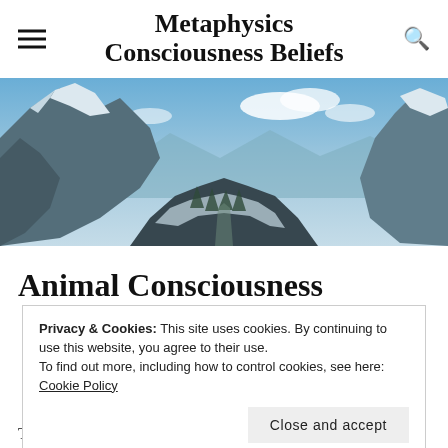Metaphysics Consciousness Beliefs
[Figure (photo): Panoramic mountain landscape with snow-capped rocky peaks, blue sky with clouds, valley below — alpine scenery]
Animal Consciousness
Privacy & Cookies: This site uses cookies. By continuing to use this website, you agree to their use.
To find out more, including how to control cookies, see here: Cookie Policy
Close and accept
The consciousness of animals has his has its own